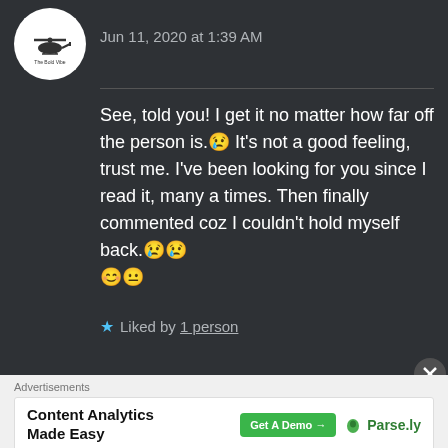[Figure (logo): Circular avatar logo with helicopter silhouette and text 'The Bold Vibe']
Jun 11, 2020 at 1:39 AM
See, told you! I get it no matter how far off the person is.😢 It's not a good feeling, trust me. I've been looking for you since I read it, many a times. Then finally commented coz I couldn't hold myself back.😢😢😊😐
★ Liked by 1 person
Advertisements
Content Analytics Made Easy  Get A Demo →  🌿 Parse.ly